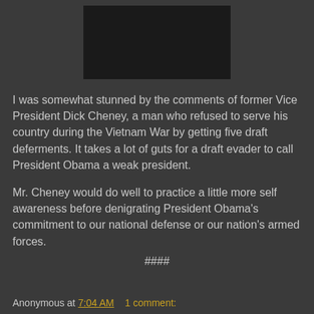[Figure (photo): Dark/black rectangular image placeholder centered at top of page]
I was somewhat stunned by the comments of former Vice President Dick Cheney, a man who refused to serve his country during the Vietnam War by getting five draft deferments. It takes a lot of guts for a draft evader to call President Obama a weak president.
Mr. Cheney would do well to practice a little more self awareness before denigrating President Obama's commitment to our national defense or our nation's armed forces.
####
Anonymous at 7:04 AM    1 comment: